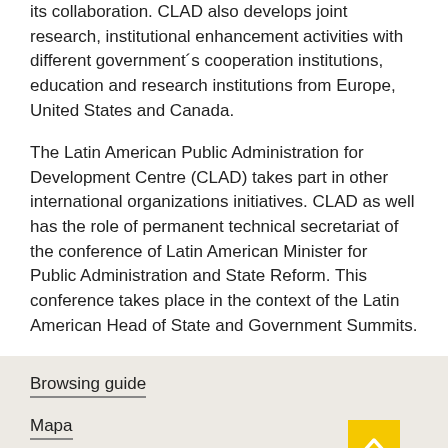its collaboration. CLAD also develops joint research, institutional enhancement activities with different government´s cooperation institutions, education and research institutions from Europe, United States and Canada.
The Latin American Public Administration for Development Centre (CLAD) takes part in other international organizations initiatives. CLAD as well has the role of permanent technical secretariat of the conference of Latin American Minister for Public Administration and State Reform. This conference takes place in the context of the Latin American Head of State and Government Summits.
Browsing guide
Mapa
Contacto